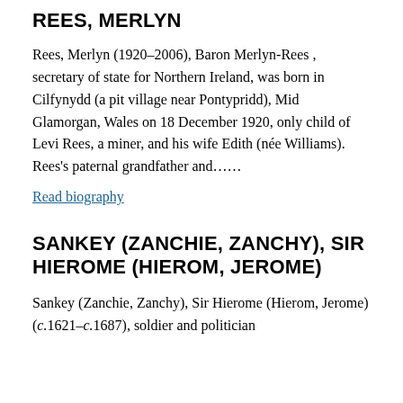REES, MERLYN
Rees, Merlyn (1920–2006), Baron Merlyn-Rees , secretary of state for Northern Ireland, was born in Cilfynydd (a pit village near Pontypridd), Mid Glamorgan, Wales on 18 December 1920, only child of Levi Rees, a miner, and his wife Edith (née Williams). Rees's paternal grandfather and……
Read biography
SANKEY (ZANCHIE, ZANCHY), SIR HIEROME (HIEROM, JEROME)
Sankey (Zanchie, Zanchy), Sir Hierome (Hierom, Jerome) (c.1621–c.1687), soldier and politician